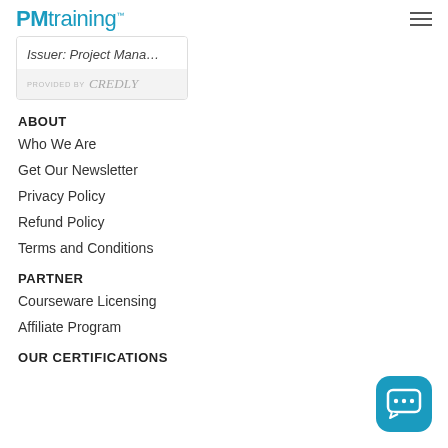PMtraining™
[Figure (screenshot): Credential card showing 'Issuer: Project Mana...' text with 'PROVIDED BY Credly' footer on a light grey background]
ABOUT
Who We Are
Get Our Newsletter
Privacy Policy
Refund Policy
Terms and Conditions
PARTNER
Courseware Licensing
Affiliate Program
OUR CERTIFICATIONS